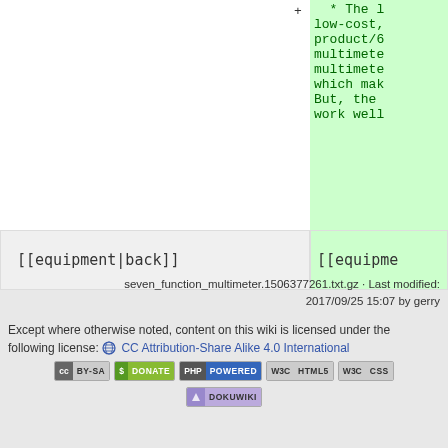+   * The low-cost, product/6 multimete multimete which mak But, the work well
[[equipment|back]]
[[equipme
seven_function_multimeter.1506377261.txt.gz · Last modified: 2017/09/25 15:07 by gerry
Except where otherwise noted, content on this wiki is licensed under the following license: CC Attribution-Share Alike 4.0 International